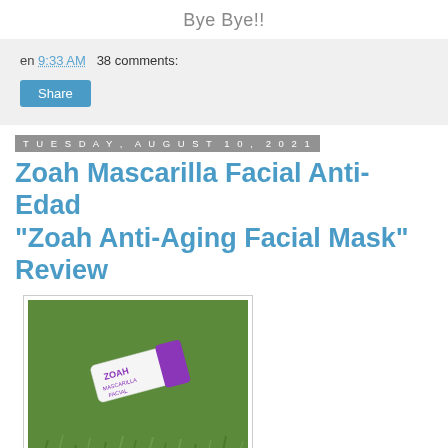Bye Bye!!
en 9:33 AM   38 comments:
Share
Tuesday, August 10, 2021
Zoah Mascarilla Facial Anti-Edad "Zoah Anti-Aging Facial Mask" Review
[Figure (photo): A white pump bottle with purple cap labeled ZOAH MASCARILLA FACIAL lying on green grass]